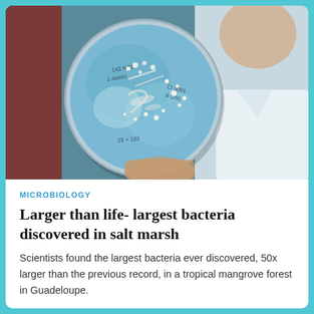[Figure (photo): A scientist or researcher holds up a circular petri dish with bacterial colonies growing on blue agar medium, with white colony spots visible. The background shows a blurred person in a white lab coat.]
MICROBIOLOGY
Larger than life- largest bacteria discovered in salt marsh
Scientists found the largest bacteria ever discovered, 50x larger than the previous record, in a tropical mangrove forest in Guadeloupe.